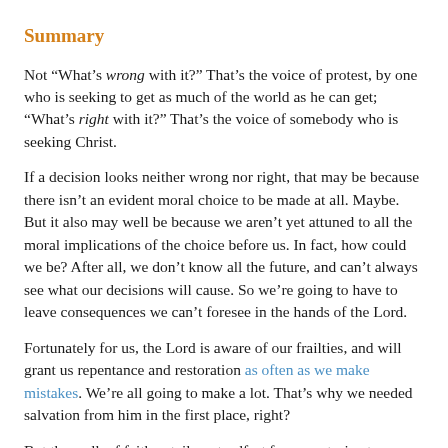Summary
Not “What’s wrong with it?” That’s the voice of protest, by one who is seeking to get as much of the world as he can get; “What’s right with it?” That’s the voice of somebody who is seeking Christ.
If a decision looks neither wrong nor right, that may be because there isn’t an evident moral choice to be made at all. Maybe. But it also may well be because we aren’t yet attuned to all the moral implications of the choice before us. In fact, how could we be? After all, we don’t know all the future, and can’t always see what our decisions will cause. So we’re going to have to leave consequences we can’t foresee in the hands of the Lord.
Fortunately for us, the Lord is aware of our frailties, and will grant us repentance and restoration as often as we make mistakes. We’re all going to make a lot. That’s why we needed salvation from him in the first place, right?
But the walk of faith entails a steadfast focus on trying to choose for Christ; that, and regular repentance, growth, learning,